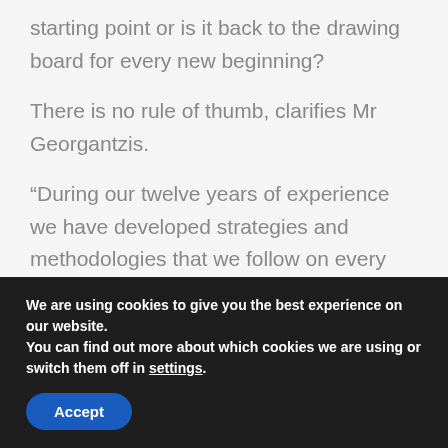starting point or is it back to the drawing board for every new beginning?
There is no rule of thumb, clarifies Mr Georgantzis.
“During our twelve years of experience we have developed strategies and methodologies that we follow on every project, but this has to do mainly with the process, not with the result,” he said.
We are using cookies to give you the best experience on our website.
You can find out more about which cookies we are using or switch them off in settings.